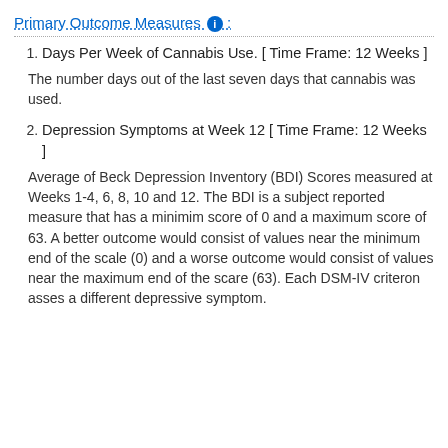Primary Outcome Measures :
Days Per Week of Cannabis Use. [ Time Frame: 12 Weeks ]
The number days out of the last seven days that cannabis was used.
Depression Symptoms at Week 12 [ Time Frame: 12 Weeks ]
Average of Beck Depression Inventory (BDI) Scores measured at Weeks 1-4, 6, 8, 10 and 12. The BDI is a subject reported measure that has a minimim score of 0 and a maximum score of 63. A better outcome would consist of values near the minimum end of the scale (0) and a worse outcome would consist of values near the maximum end of the scare (63). Each DSM-IV criteron asses a different depressive symptom.